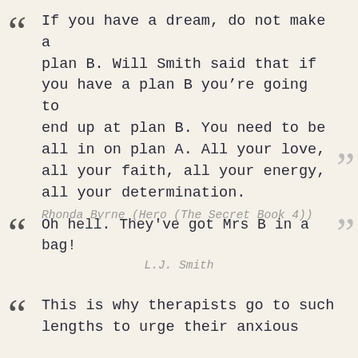If you have a dream, do not make a plan B. Will Smith said that if you have a plan B you’re going to end up at plan B. You need to be all in on plan A. All your love, all your faith, all your energy, all your determination.
Rhonda Byrne (Hero (The Secret Book 4))
Oh hell. They've got Mrs B in a bag!
L.J. Smith
This is why therapists go to such lengths to urge their anxious